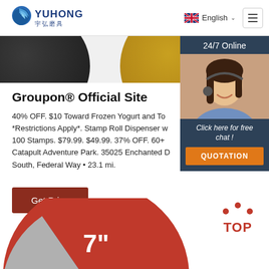YUHONG 宇弘磨具 — English
[Figure (photo): Partial view of two abrasive disc products — one black and one golden/yellow — shown from above, cropped at top of page]
Groupon® Official Site
40% OFF. $10 Toward Frozen Yogurt and To *Restrictions Apply*. Stamp Roll Dispenser w 100 Stamps. $79.99. $49.99. 37% OFF. 60+ Catapult Adventure Park. 35025 Enchanted D South, Federal Way • 23.1 mi.
Get Price
[Figure (photo): 24/7 Online customer service chat widget with female agent wearing headset, 'Click here for free chat!' text, and orange QUOTATION button]
[Figure (photo): Bottom portion of a red/blue/grey abrasive disc showing '7"' label in white text, partially cropped]
[Figure (logo): TOP badge with red dot pattern above and red TOP text]